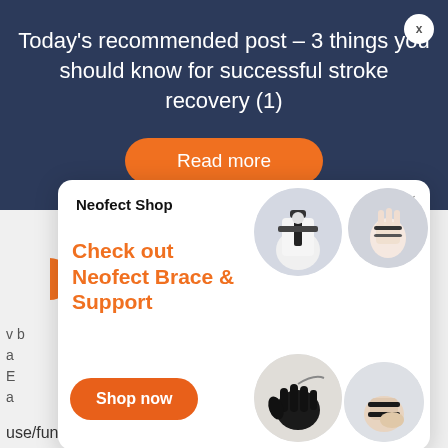Today's recommended post – 3 things you should know for successful stroke recovery (1)
Read more
[Figure (screenshot): Neofect Shop popup advertisement showing Neofect Brace & Support products with four circular product images (shoulder brace, hand/finger brace, robotic glove, ankle brace) and a 'Shop now' button]
use/function and user value, unique/novel